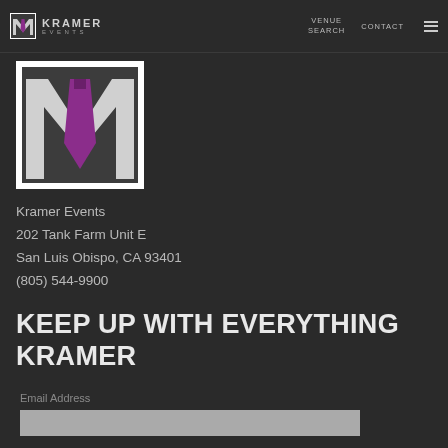Kramer Events – navigation bar with VENUE SEARCH, CONTACT, and menu
[Figure (logo): Kramer Events logo: large stylized M with purple tie on white/dark background]
Kramer Events
202 Tank Farm Unit E
San Luis Obispo, CA 93401
(805) 544-9900
KEEP UP WITH EVERYTHING KRAMER
Email Address
[Email input field]